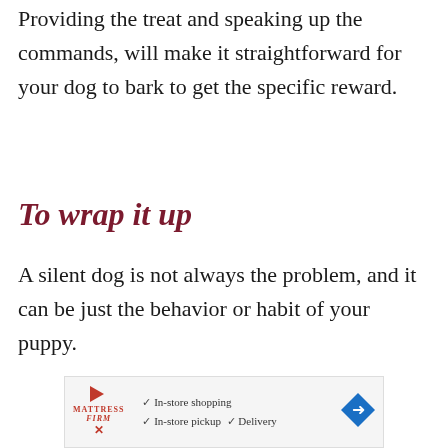Providing the treat and speaking up the commands, will make it straightforward for your dog to bark to get the specific reward.
To wrap it up
A silent dog is not always the problem, and it can be just the behavior or habit of your puppy.
[Figure (other): Advertisement banner for Mattress Firm showing in-store shopping, in-store pickup, and delivery options with checkmarks and a blue diamond arrow icon.]